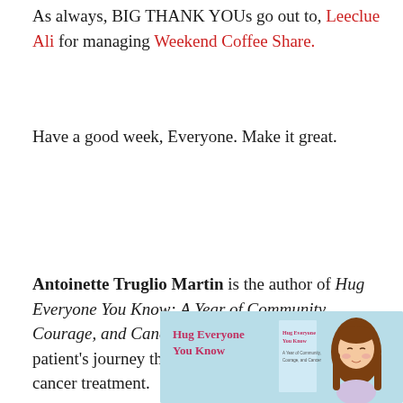As always, BIG THANK YOUs go out to, Leeclue Ali for managing Weekend Coffee Share.
Have a good week, Everyone. Make it great.
Antoinette Truglio Martin is the author of Hug Everyone You Know: A Year of Community, Courage, and Cancer. The memoir is a wimpy patient's journey through her first year of breast cancer treatment.
[Figure (illustration): Book cover illustration for 'Hug Everyone You Know' showing a light blue background, title text on the left in pink/red, and a small illustrated woman with long brown hair and rosy cheeks on the right, with a smaller book spine visible in the center.]